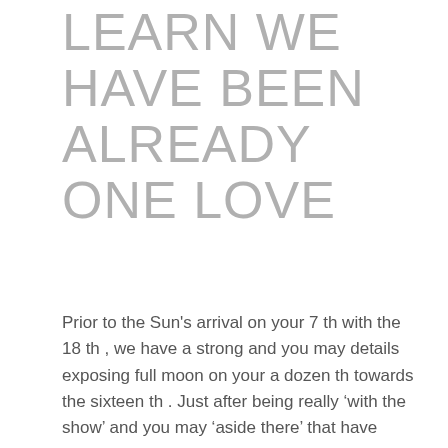LEARN WE HAVE BEEN ALREADY ONE LOVE
Prior to the Sun's arrival on your 7 th with the 18 th , we have a strong and you may details exposing full moon on your a dozen th towards the sixteen th . Just after being really ‘with the show’ and you may ‘aside there’ that have people 5 th family planets, you can even today have the reverse: you can even withdraw today to visit strong contained in this. Things must be made sense of or issues on the mind you would like answering. While the only way you'll be able to getting you can make experience of would be to devote some time away.
You might find your self re-examining the earlier in the day 12 months and seeking at they when you look at the a great the new means. One individual or choices can be your main desire